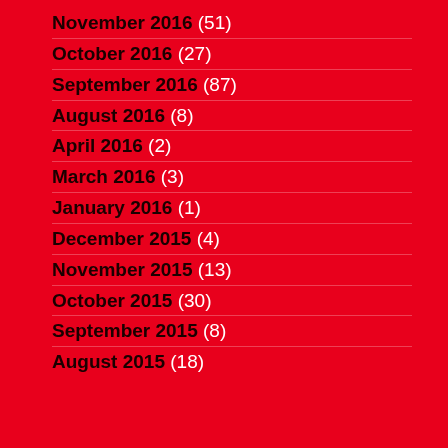November 2016 (51)
October 2016 (27)
September 2016 (87)
August 2016 (8)
April 2016 (2)
March 2016 (3)
January 2016 (1)
December 2015 (4)
November 2015 (13)
October 2015 (30)
September 2015 (8)
August 2015 (18)